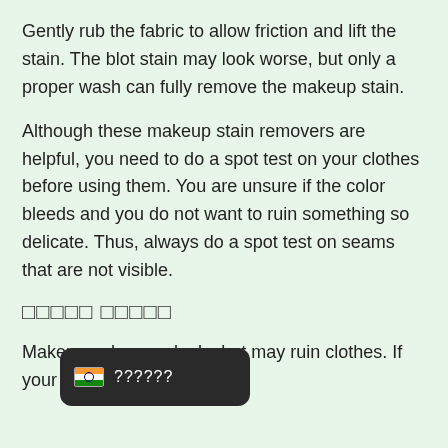Gently rub the fabric to allow friction and lift the stain. The blot stain may look worse, but only a proper wash can fully remove the makeup stain.
Although these makeup stain removers are helpful, you need to do a spot test on your clothes before using them. You are unsure if the color bleeds and you do not want to ruin something so delicate. Thus, always do a spot test on seams that are not visible.
□□□□□ □□□□□
Makeup enhances looks but may ruin clothes. If your clothes
[Figure (screenshot): Dark rounded rectangle UI element showing an Indian flag emoji followed by question marks (??????) in white text on dark background.]